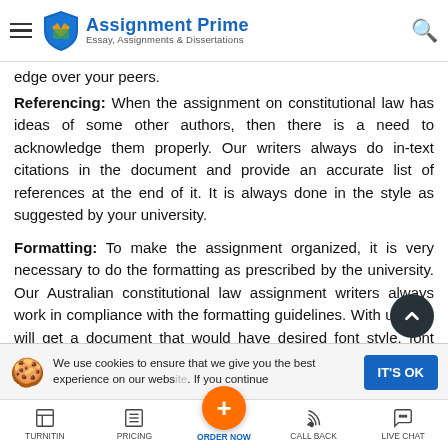Assignment Prime — Essay, Assignments & Dissertations
edge over your peers.
Referencing: When the assignment on constitutional law has ideas of some other authors, then there is a need to acknowledge them properly. Our writers always do in-text citations in the document and provide an accurate list of references at the end of it. It is always done in the style as suggested by your university.
Formatting: To make the assignment organized, it is very necessary to do the formatting as prescribed by the university. Our Australian constitutional law assignment writers always work in compliance with the formatting guidelines. With us, you will get a document that would have desired font style, font size, page margins, numbering, spacing, etc.
Style & Tone: While writing an academic paper, it is very necessary to keep a check on the writing style and tone. Since online assignment help experts have been writing assignments on
We use cookies to ensure that we give you the best experience on our website. If you continue
TURNITIN  PRICING  ORDER NOW  CALL BACK  LIVE CHAT